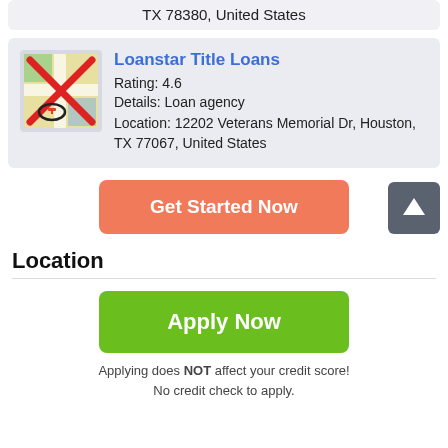TX 78380, United States
Loanstar Title Loans
Rating: 4.6
Details: Loan agency
Location: 12202 Veterans Memorial Dr, Houston, TX 77067, United States
Get Started Now
Location
Apply Now
Applying does NOT affect your credit score!
No credit check to apply.